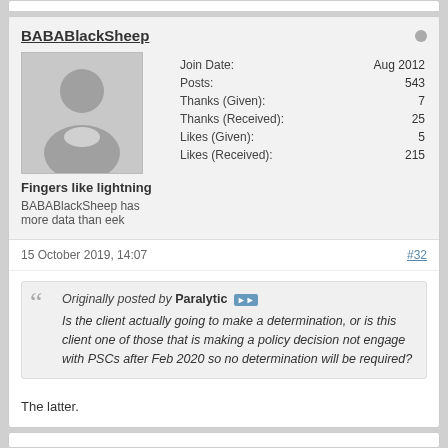BABABlackSheep
| Field | Value |
| --- | --- |
| Join Date: | Aug 2012 |
| Posts: | 543 |
| Thanks (Given): | 7 |
| Thanks (Received): | 25 |
| Likes (Given): | 5 |
| Likes (Received): | 215 |
Fingers like lightning
BABABlackSheep has more data than eek
15 October 2019, 14:07
#32
Originally posted by Paralytic
Is the client actually going to make a determination, or is this client one of those that is making a policy decision not engage with PSCs after Feb 2020 so no determination will be required?
The latter.